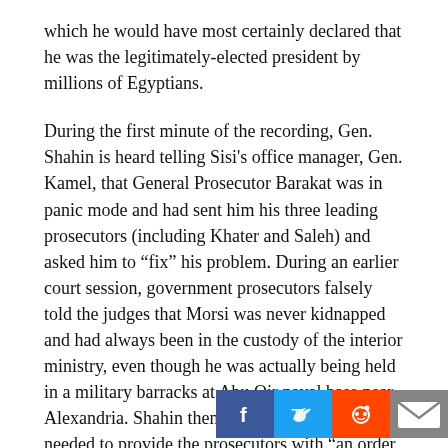which he would have most certainly declared that he was the legitimately-elected president by millions of Egyptians.
During the first minute of the recording, Gen. Shahin is heard telling Sisi's office manager, Gen. Kamel, that General Prosecutor Barakat was in panic mode and had sent him his three leading prosecutors (including Khater and Saleh) and asked him to "fix" his problem. During an earlier court session, government prosecutors falsely told the judges that Morsi was never kidnapped and had always been in the custody of the interior ministry, even though he was actually being held in a military barracks at Abu Qir naval base near Alexandria. Shahin then told Kamel that they needed to provide the prosecutors with "an order of arrest of Morsi signed by interior minister Gen. Ibrahim that must be backdated to the day of the coup." Shahin then called Ibrahim (m[...]) note[...] for the forged legal document to be signed by the